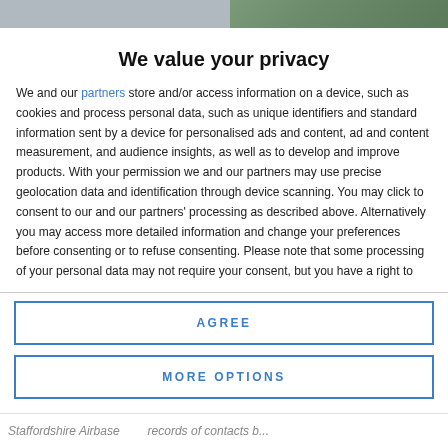[Figure (photo): Partial background image visible at top of page, split into two sections with different colors/tones]
We value your privacy
We and our partners store and/or access information on a device, such as cookies and process personal data, such as unique identifiers and standard information sent by a device for personalised ads and content, ad and content measurement, and audience insights, as well as to develop and improve products. With your permission we and our partners may use precise geolocation data and identification through device scanning. You may click to consent to our and our partners' processing as described above. Alternatively you may access more detailed information and change your preferences before consenting or to refuse consenting. Please note that some processing of your personal data may not require your consent, but you have a right to
AGREE
MORE OPTIONS
Staffordshire Airbase    records of contacts b...